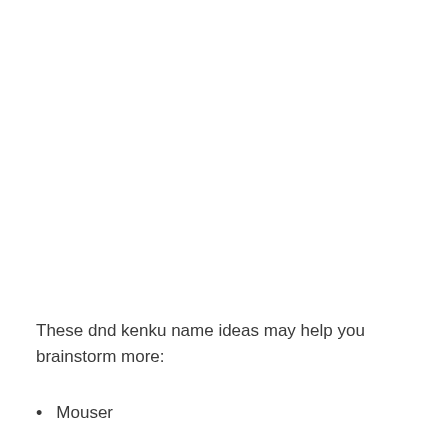These dnd kenku name ideas may help you brainstorm more:
Mouser